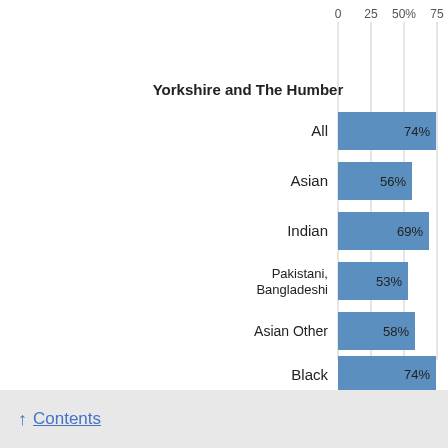[Figure (bar-chart): Yorkshire and The Humber]
↑ Contents